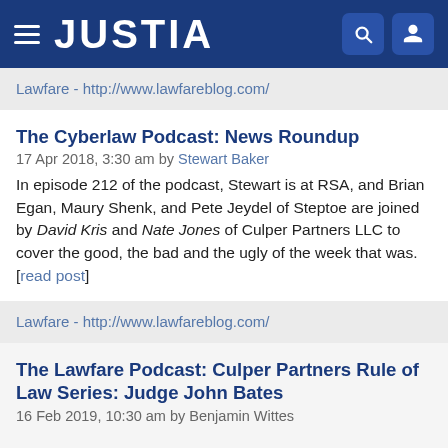JUSTIA
Lawfare - http://www.lawfareblog.com/
The Cyberlaw Podcast: News Roundup
17 Apr 2018, 3:30 am by Stewart Baker
In episode 212 of the podcast, Stewart is at RSA, and Brian Egan, Maury Shenk, and Pete Jeydel of Steptoe are joined by David Kris and Nate Jones of Culper Partners LLC to cover the good, the bad and the ugly of the week that was. [read post]
Lawfare - http://www.lawfareblog.com/
The Lawfare Podcast: Culper Partners Rule of Law Series: Judge John Bates
16 Feb 2019, 10:30 am by Benjamin Wittes